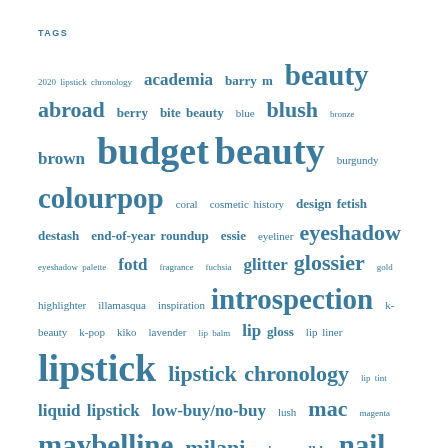TAGS
[Figure (infographic): Tag cloud with beauty/cosmetics related tags in varying font sizes representing frequency, all in a teal/steel blue color. Tags include: 2020 lipstick chronology, academia, barry m, beauty, abroad, berry, bite beauty, blue, blush, bronze, brown, budget beauty, burgundy, colourpop, coral, cosmetic history, design fetish, destash, end-of-year roundup, essie, eyeliner, eyeshadow, eyeshadow palette, fotd, fragrance, fuchsia, glitter, glossier, gold, highlighter, illamasqua, inspiration, introspection, k-beauty, k-pop, kiko, lavender, lip balm, lip gloss, lip liner, lipstick, lipstick chronology, lip tint, liquid lipstick, low-buy/no-buy, lush, mac, magenta, maybelline, milani, misc., mlbb, nail polish, nars, new releases, nude lips, nyx, orange, pandemic beauty, peach, pink]